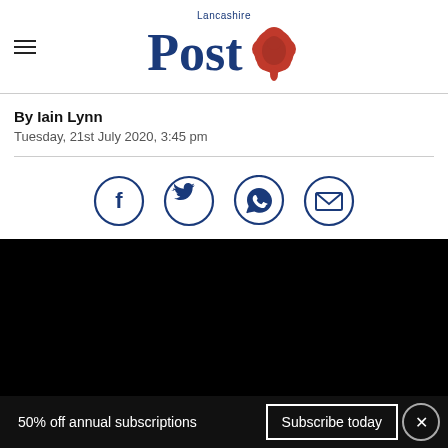Lancashire Post
By Iain Lynn
Tuesday, 21st July 2020, 3:45 pm
[Figure (infographic): Social sharing icons: Facebook, Twitter, WhatsApp, Email — circular outlined icons in dark blue]
[Figure (photo): Black rectangular image area (video placeholder or image)]
50% off annual subscriptions   Subscribe today